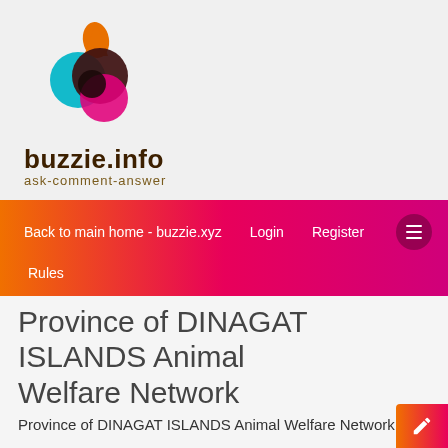[Figure (logo): buzzie.info logo with overlapping colored circles (teal, dark red, pink) and flame shape on top, with text 'buzzie.info' and 'ask-comment-answer' below]
Back to main home - buzzie.xyz   Login   Register   Rules
Province of DINAGAT ISLANDS Animal Welfare Network
Province of DINAGAT ISLANDS Animal Welfare Network
This forum is for sharing all animals needing any kind of help in the province of Dinagat Islands, Philippines